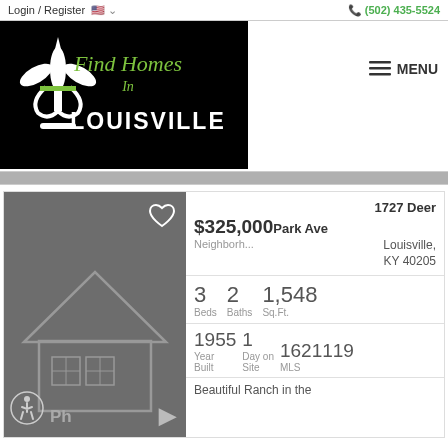Login / Register   (502) 435-5524
[Figure (logo): Find Homes In Louisville logo with fleur-de-lis on black background]
MENU
1727 Deer Park Ave Louisville, KY 40205
$325,000
Neighborh...
3 Beds  2 Baths  1,548 Sq.Ft.
1955 Year Built  1 Day on Site  1621119 MLS
Beautiful Ranch in the